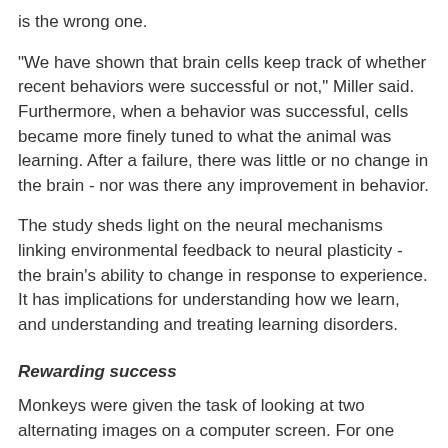is the wrong one.
"We have shown that brain cells keep track of whether recent behaviors were successful or not," Miller said. Furthermore, when a behavior was successful, cells became more finely tuned to what the animal was learning. After a failure, there was little or no change in the brain - nor was there any improvement in behavior.
The study sheds light on the neural mechanisms linking environmental feedback to neural plasticity - the brain's ability to change in response to experience. It has implications for understanding how we learn, and understanding and treating learning disorders.
Rewarding success
Monkeys were given the task of looking at two alternating images on a computer screen. For one picture, the animal was rewarded when it shifted its gaze to the right; for another picture it was supposed to look left. The monkeys used trial